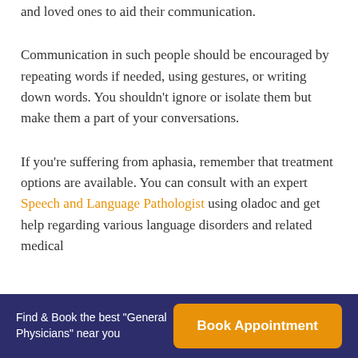and loved ones to aid their communication.
Communication in such people should be encouraged by repeating words if needed, using gestures, or writing down words. You shouldn't ignore or isolate them but make them a part of your conversations.
If you're suffering from aphasia, remember that treatment options are available. You can consult with an expert Speech and Language Pathologist using oladoc and get help regarding various language disorders and related medical
Find & Book the best "General Physicians" near you  |  Book Appointment